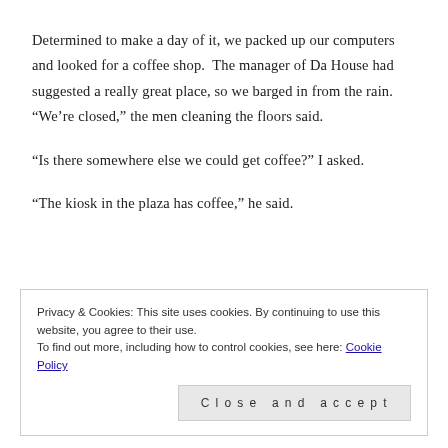Determined to make a day of it, we packed up our computers and looked for a coffee shop.  The manager of Da House had suggested a really great place, so we barged in from the rain.  “We’re closed,” the men cleaning the floors said.
“Is there somewhere else we could get coffee?” I asked.
“The kiosk in the plaza has coffee,” he said.
Privacy & Cookies: This site uses cookies. By continuing to use this website, you agree to their use.
To find out more, including how to control cookies, see here: Cookie Policy